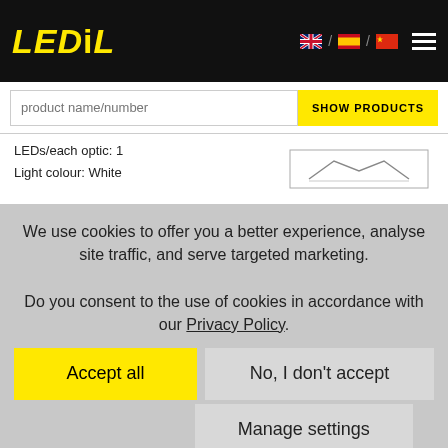[Figure (logo): LEDiL logo in yellow italic bold text on black background header]
product name/number
LEDs/each optic: 1
Light colour: White
We use cookies to offer you a better experience, analyse site traffic, and serve targeted marketing. Do you consent to the use of cookies in accordance with our Privacy Policy.
Accept all
No, I don't accept
Manage settings